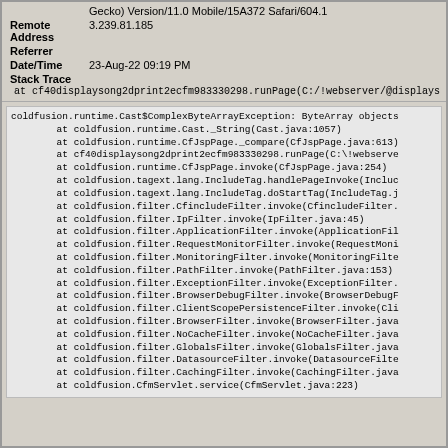Gecko) Version/11.0 Mobile/15A372 Safari/604.1
Remote Address: 3.239.81.185
Referrer
Date/Time: 23-Aug-22 09:19 PM
Stack Trace
at cf40displaysong2dprint2ecfm983330298.runPage(C:/!webserver/@displaysong-print.cfm:59)
coldfusion.runtime.Cast$ComplexByteArrayException: ByteArray objects
        at coldfusion.runtime.Cast._String(Cast.java:1057)
        at coldfusion.runtime.CfJspPage._compare(CfJspPage.java:613)
        at cf40displaysong2dprint2ecfm983330298.runPage(C:\!webserve
        at coldfusion.runtime.CfJspPage.invoke(CfJspPage.java:254)
        at coldfusion.tagext.lang.IncludeTag.handlePageInvoke(Includ
        at coldfusion.tagext.lang.IncludeTag.doStartTag(IncludeTag.j
        at coldfusion.filter.CfincludeFilter.invoke(CfincludeFilter.
        at coldfusion.filter.IpFilter.invoke(IpFilter.java:45)
        at coldfusion.filter.ApplicationFilter.invoke(ApplicationFil
        at coldfusion.filter.RequestMonitorFilter.invoke(RequestMoni
        at coldfusion.filter.MonitoringFilter.invoke(MonitoringFilte
        at coldfusion.filter.PathFilter.invoke(PathFilter.java:153)
        at coldfusion.filter.ExceptionFilter.invoke(ExceptionFilter.
        at coldfusion.filter.BrowserDebugFilter.invoke(BrowserDebugF
        at coldfusion.filter.ClientScopePersistenceFilter.invoke(Cli
        at coldfusion.filter.BrowserFilter.invoke(BrowserFilter.java
        at coldfusion.filter.NoCacheFilter.invoke(NoCacheFilter.java
        at coldfusion.filter.GlobalsFilter.invoke(GlobalsFilter.java
        at coldfusion.filter.DatasourceFilter.invoke(DatasourceFilte
        at coldfusion.filter.CachingFilter.invoke(CachingFilter.java
        at coldfusion.CfmServlet.service(CfmServlet.java:223)